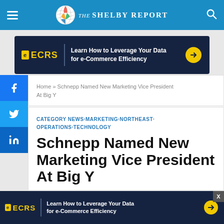The Shelby Report
[Figure (infographic): ECRS advertisement banner: Learn How to Leverage Your Data for e-Commerce Efficiency]
Home » Schnepp Named New Marketing Vice President At Big Y
CATEGORY NEWS·MARKETING·NORTHEAST·OPERATIONS·TECHNOLOGY
Schnepp Named New Marketing Vice President At Big Y
[Figure (infographic): ECRS advertisement banner at bottom: Learn How to Leverage Your Data for e-Commerce Efficiency]